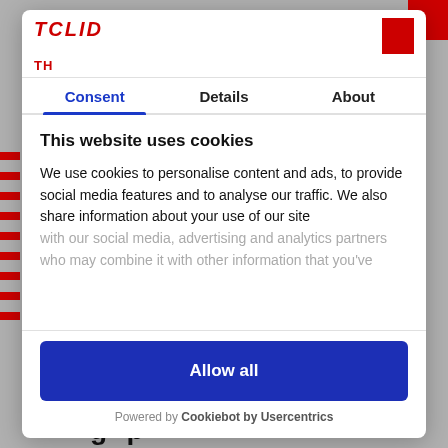[Figure (screenshot): Cookie consent modal dialog overlay on a website. Shows tabs: Consent (active, blue), Details, About. Contains cookie notice text, an 'Allow all' blue button, and 'Powered by Cookiebot by Usercentrics' footer.]
Consent | Details | About
This website uses cookies
We use cookies to personalise content and ads, to provide social media features and to analyse our traffic. We also share information about your use of our site with our social media, advertising and analytics partners who may combine it with other information that you've
Allow all
Powered by Cookiebot by Usercentrics